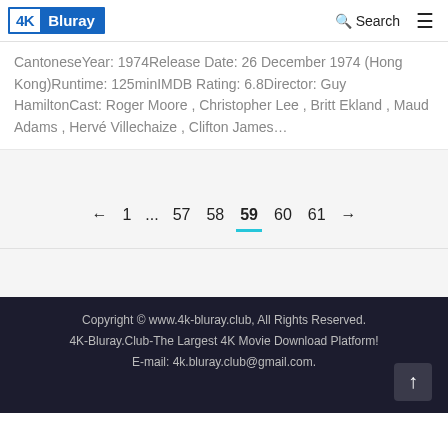4K Bluray | Search | Menu
CantoneseYear: 1974Release Date: 26 December 1974 (Hong Kong)Runtime: 125minIMDB Rating: 6.8Director: Guy HamiltonCast: Roger Moore , Christopher Lee , Britt Ekland , Maud Adams , Hervé Villechaize , Clifton James…
← 1 ... 57 58 59 60 61 →
Copyright © www.4k-bluray.club, All Rights Reserved. 4K-Bluray.Club-The Largest 4K Movie Download Platform! E-mail: 4k.bluray.club@gmail.com.